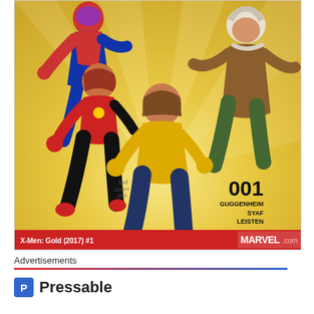[Figure (illustration): Comic book cover of X-Men: Gold (2017) #1. Shows multiple superheroes running toward the viewer against a golden radial background. Center hero wears yellow and blue outfit. Left hero wears red and black. Right background shows older man in brown jacket and green pants. Upper left shows a character in red/blue armor. Issue number 001 is displayed in bold at lower right with credits: GUGGENHEIM, SYAF, LEISTEN. Red banner at bottom reads 'X-Men: Gold (2017) #1' and Marvel.com logo.]
Advertisements
[Figure (logo): Pressable logo with blue P icon box and the word 'Pressable' in bold dark text]